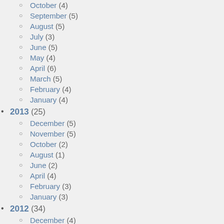October (4)
September (5)
August (5)
July (3)
June (5)
May (4)
April (6)
March (5)
February (4)
January (4)
2013 (25)
December (5)
November (5)
October (2)
August (1)
June (2)
April (4)
February (3)
January (3)
2012 (34)
December (4)
November (4)
October (6)